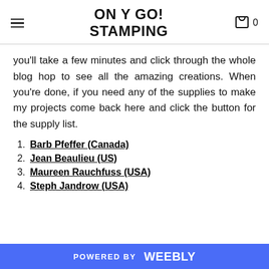ON Y GO! STAMPING
you'll take a few minutes and click through the whole blog hop to see all the amazing creations. When you're done, if you need any of the supplies to make my projects come back here and click the button for the supply list.
1. Barb Pfeffer (Canada)
2. Jean Beaulieu (US)
3. Maureen Rauchfuss (USA)
4. Steph Jandrow (USA)
POWERED BY weebly